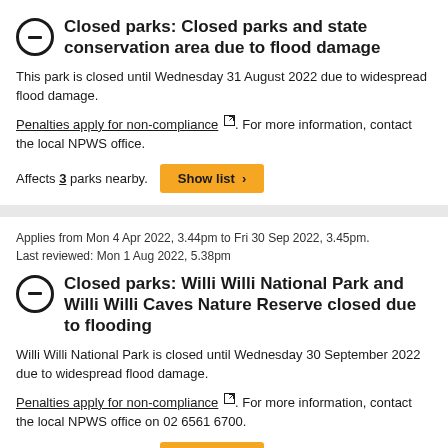Closed parks: Closed parks and state conservation area due to flood damage
This park is closed until Wednesday 31 August 2022 due to widespread flood damage.
Penalties apply for non-compliance. For more information, contact the local NPWS office.
Affects 3 parks nearby.
Applies from Mon 4 Apr 2022, 3.44pm to Fri 30 Sep 2022, 3.45pm. Last reviewed: Mon 1 Aug 2022, 5.38pm
Closed parks: Willi Willi National Park and Willi Willi Caves Nature Reserve closed due to flooding
Willi Willi National Park is closed until Wednesday 30 September 2022 due to widespread flood damage.
Penalties apply for non-compliance. For more information, contact the local NPWS office on 02 6561 6700.
Affects 2 parks nearby.